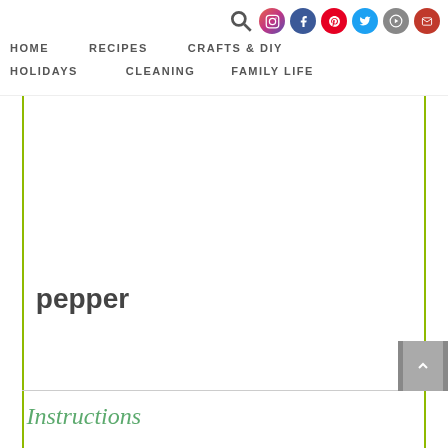HOME   RECIPES   CRAFTS & DIY   HOLIDAYS   CLEANING   FAMILY LIFE
pepper
Instructions